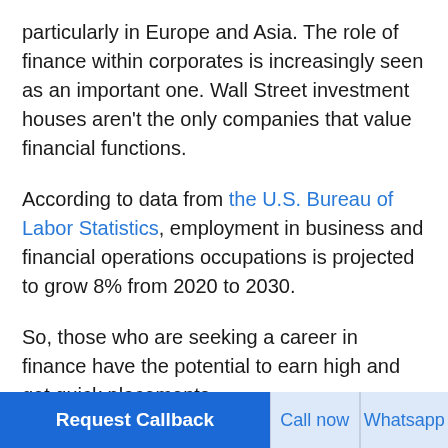particularly in Europe and Asia. The role of finance within corporates is increasingly seen as an important one. Wall Street investment houses aren't the only companies that value financial functions.
According to data from the U.S. Bureau of Labor Statistics, employment in business and financial operations occupations is projected to grow 8% from 2020 to 2030.
So, those who are seeking a career in finance have the potential to earn high and get quick placements.
In fact, careers related to Finance and Accounting have lower unemployment rates (3.9%), and related roles are expected to increase faster in the years to come.
Request Callback | Call now | Whatsapp